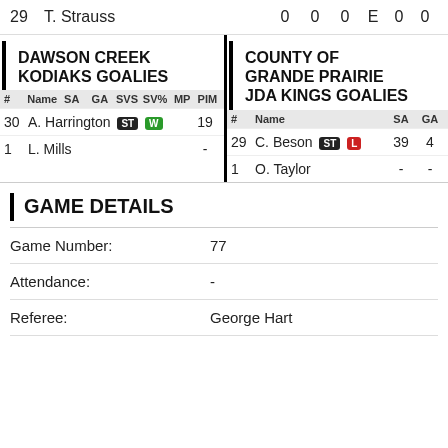| # | Name | SA | GA | SVS | SV% | MP | PIM |
| --- | --- | --- | --- | --- | --- | --- | --- |
| 29 | T. Strauss | 0 | 0 | 0 | E | 0 | 0 |
DAWSON CREEK KODIAKS GOALIES
| # | Name | SA | GA | SVS | SV% | MP | PIM |
| --- | --- | --- | --- | --- | --- | --- | --- |
| 30 | A. Harrington [ST] [W] | 19 |  |  |  |  |  |
| 1 | L. Mills | - |  |  |  |  |  |
COUNTY OF GRANDE PRAIRIE JDA KINGS GOALIES
| # | Name | SA | GA |
| --- | --- | --- | --- |
| 29 | C. Beson [ST] [L] | 39 | 4 |
| 1 | O. Taylor | - | - |
GAME DETAILS
Game Number: 77
Attendance: -
Referee: George Hart